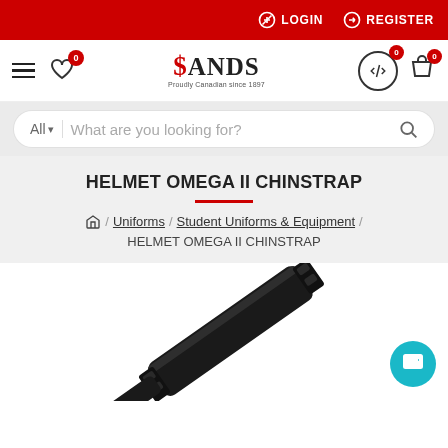LOGIN   REGISTER
[Figure (logo): Sands Canada logo with dollar sign S and tagline Proudly Canadian since 1897]
What are you looking for?
HELMET OMEGA II CHINSTRAP
Home / Uniforms / Student Uniforms & Equipment / HELMET OMEGA II CHINSTRAP
[Figure (photo): Black helmet chinstrap product photo on white background]